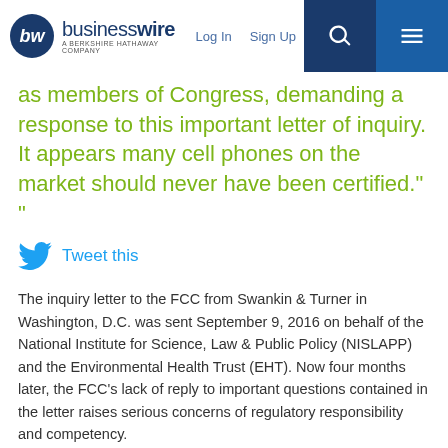businesswire — A BERKSHIRE HATHAWAY COMPANY | Log In | Sign Up
as members of Congress, demanding a response to this important letter of inquiry. It appears many cell phones on the market should never have been certified." "
Tweet this
The inquiry letter to the FCC from Swankin & Turner in Washington, D.C. was sent September 9, 2016 on behalf of the National Institute for Science, Law & Public Policy (NISLAPP) and the Environmental Health Trust (EHT). Now four months later, the FCC's lack of reply to important questions contained in the letter raises serious concerns of regulatory responsibility and competency.
The inquiry letter to the FCC suggests as many as 75% of cell phones on the market today may possibly exceed the FCC's exposure limit of 1.6 W/kg peak spatial Specific Absorption Rate (psSAR), due to a +/-30% margin of error (or uncertainty factor) in the Institute of Electrical and Electronic Engineers (IEEE)